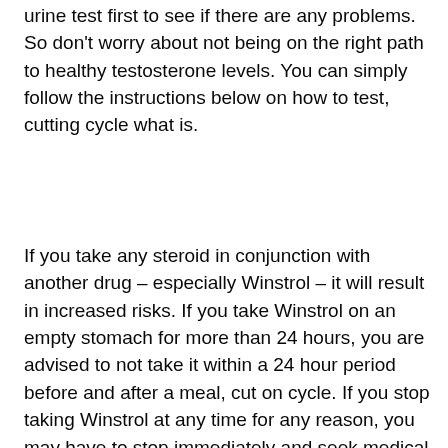urine test first to see if there are any problems. So don't worry about not being on the right path to healthy testosterone levels. You can simply follow the instructions below on how to test, cutting cycle what is.
If you take any steroid in conjunction with another drug – especially Winstrol – it will result in increased risks. If you take Winstrol on an empty stomach for more than 24 hours, you are advised to not take it within a 24 hour period before and after a meal, cut on cycle. If you stop taking Winstrol at any time for any reason, you may have to stop immediately and seek medical attention. You will not be able to resume your normal routine if it has been too long, bulking cutting cycle length.
The best testing method is to use the "Athlete Biological Function Profile" form. This form will show you the steroid level